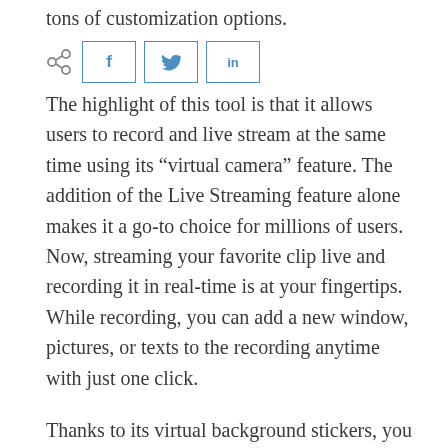tons of customization options.
[Figure (other): Social share bar with share icon and buttons for Facebook (f), Twitter (bird), and LinkedIn (in)]
The highlight of this tool is that it allows users to record and live stream at the same time using its “virtual camera” feature. The addition of the Live Streaming feature alone makes it a go-to choice for millions of users. Now, streaming your favorite clip live and recording it in real-time is at your fingertips. While recording, you can add a new window, pictures, or texts to the recording anytime with just one click.
Thanks to its virtual background stickers, you can easily create stunning scenes as per your requirements. In addition, it comes loaded with a